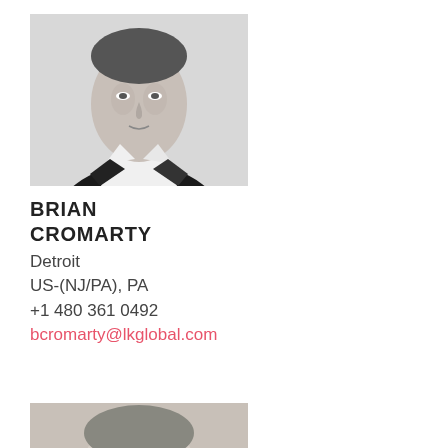[Figure (photo): Black and white professional headshot of Brian Cromarty, a man in a dark suit jacket and white shirt, photographed from chest up against a light background.]
BRIAN
CROMARTY
Detroit
US-(NJ/PA), PA
+1 480 361 0492
bcromarty@lkglobal.com
[Figure (photo): Black and white professional headshot partially visible at bottom of page, showing top of head with light hair.]